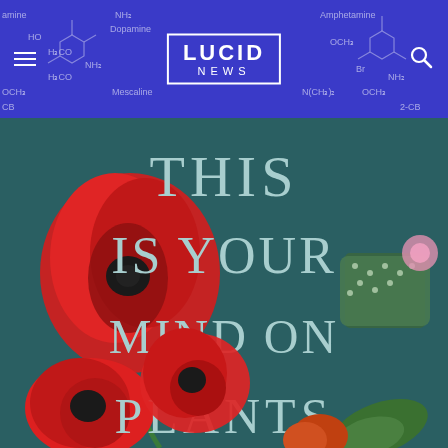LUCID NEWS
[Figure (illustration): Book cover for 'This Is Your Mind On Plants' showing red poppies and cactus on a dark teal background with large serif text reading THIS IS YOUR MIND ON PLANTS]